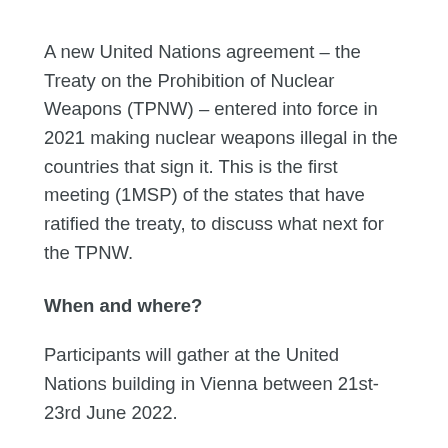A new United Nations agreement – the Treaty on the Prohibition of Nuclear Weapons (TPNW) – entered into force in 2021 making nuclear weapons illegal in the countries that sign it. This is the first meeting (1MSP) of the states that have ratified the treaty, to discuss what next for the TPNW.
When and where?
Participants will gather at the United Nations building in Vienna between 21st-23rd June 2022.